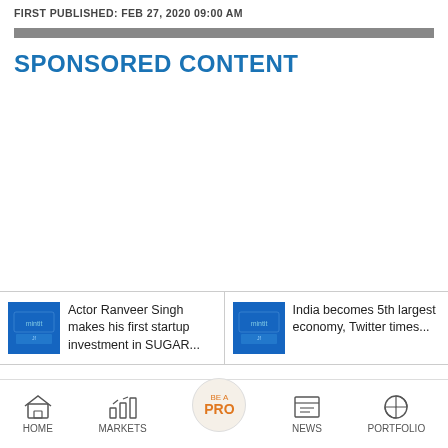FIRST PUBLISHED: FEB 27, 2020 09:00 AM
SPONSORED CONTENT
Actor Ranveer Singh makes his first startup investment in SUGAR...
India becomes 5th largest economy, Twitter times...
HOME  MARKETS  BE A PRO  NEWS  PORTFOLIO